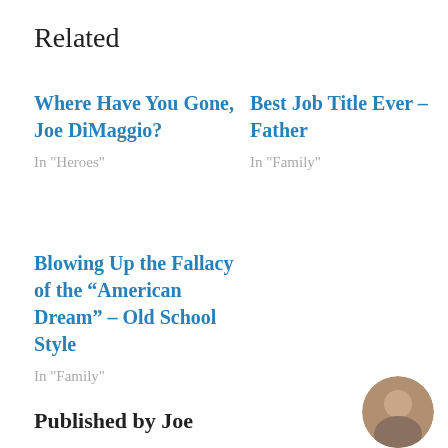Related
Where Have You Gone, Joe DiMaggio?
In "Heroes"
Best Job Title Ever – Father
In "Family"
Blowing Up the Fallacy of the “American Dream” – Old School Style
In "Family"
Published by Joe
[Figure (photo): Circular avatar photo of a person, partially visible at bottom right corner]